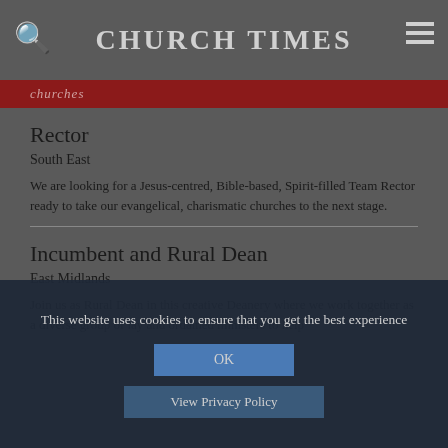CHURCH TIMES
churches
Rector
South East
We are looking for a Jesus-centred, Bible-based, Spirit-filled Team Rector ready to take our evangelical, charismatic churches to the next stage.
Incumbent and Rural Dean
East Midlands
Join us as Rural Dean in this creative Deanery where we work together as a diverse group of lay and ordained ministers to help
This website uses cookies to ensure that you get the best experience
OK
View Privacy Policy